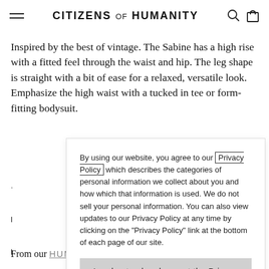CITIZENS of HUMANITY
Inspired by the best of vintage. The Sabine has a high rise with a fitted feel through the waist and hip. The leg shape is straight with a bit of ease for a relaxed, versatile look. Emphasize the high waist with a tucked in tee or form-fitting bodysuit.
By using our website, you agree to our Privacy Policy which describes the categories of personal information we collect about you and how which that information is used. We do not sell your personal information. You can also view updates to our Privacy Policy at any time by clicking on the "Privacy Policy" link at the bottom of each page of our site.
I understand and accept the Privacy Policy
From our HUMANITY Collection